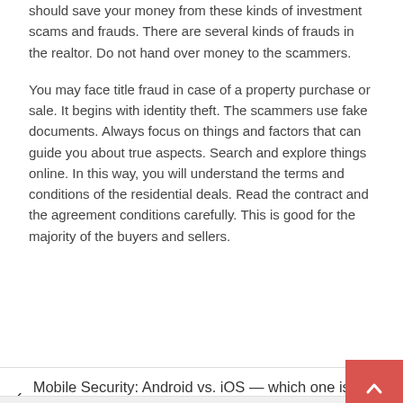should save your money from these kinds of investment scams and frauds. There are several kinds of frauds in the realtor. Do not hand over money to the scammers.
You may face title fraud in case of a property purchase or sale. It begins with identity theft. The scammers use fake documents. Always focus on things and factors that can guide you about true aspects. Search and explore things online. In this way, you will understand the terms and conditions of the residential deals. Read the contract and the agreement conditions carefully. This is good for the majority of the buyers and sellers.
< Mobile Security: Android vs. iOS — which one is safer?